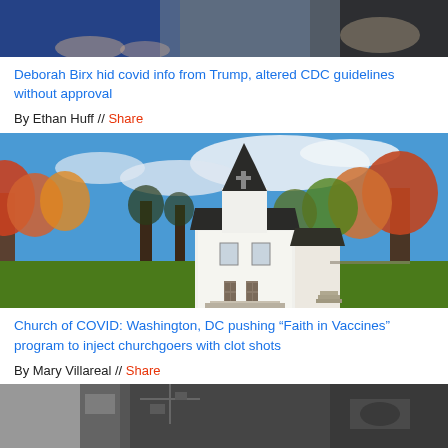[Figure (photo): Cropped top portion of photo showing people at a meeting or press conference, partial view of hands and blue jacket]
Deborah Birx hid covid info from Trump, altered CDC guidelines without approval
By Ethan Huff // Share
[Figure (photo): A small white wooden church with a steeple and cross, surrounded by autumn foliage trees and green grass under a blue sky with white clouds]
Church of COVID: Washington, DC pushing “Faith in Vaccines” program to inject churchgoers with clot shots
By Mary Villareal // Share
[Figure (photo): Bottom of page: partial image showing what appears to be aerial or close-up view of electronic components or urban scene]